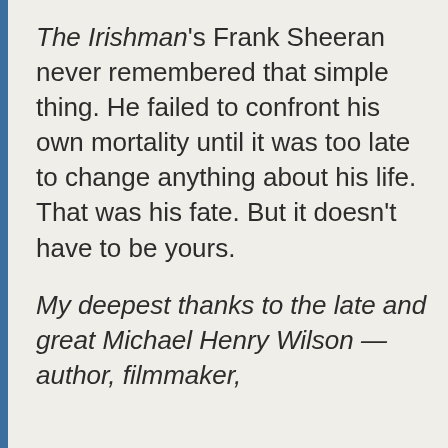The Irishman's Frank Sheeran never remembered that simple thing. He failed to confront his own mortality until it was too late to change anything about his life. That was his fate. But it doesn't have to be yours.
My deepest thanks to the late and great Michael Henry Wilson —author, filmmaker,